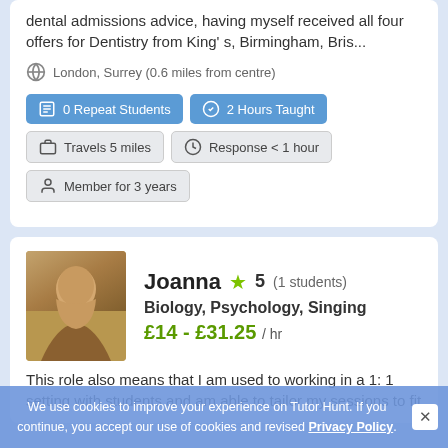dental admissions advice, having myself received all four offers for Dentistry from King's, Birmingham, Bris...
London, Surrey (0.6 miles from centre)
0 Repeat Students
2 Hours Taught
Travels 5 miles
Response < 1 hour
Member for 3 years
Joanna ★ 5 (1 students)
Biology, Psychology, Singing
£14 - £31.25 / hr
This role also means that I am used to working in a 1: 1 setting with students and am able to tailor my sessions to fit...
We use cookies to improve your experience on Tutor Hunt. If you continue, you accept our use of cookies and revised Privacy Policy.